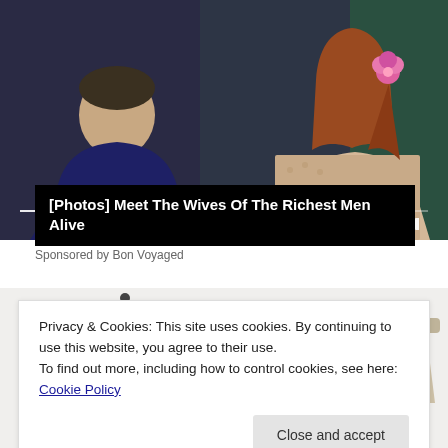[Figure (photo): Video player showing two people: a man in a dark navy suit with white tie on the left, and a woman with long reddish hair wearing a patterned dress with a pink flower, on the right. A video progress bar and media control buttons (previous, pause, next) are visible.]
[Photos] Meet The Wives Of The Richest Men Alive
Sponsored by Bon Voyaged
[Figure (photo): Partial image of modern luxury furniture/recliner chair arrangement in beige/cream color, with a small side table with speaker, against a light background.]
Privacy & Cookies: This site uses cookies. By continuing to use this website, you agree to their use.
To find out more, including how to control cookies, see here: Cookie Policy
Close and accept